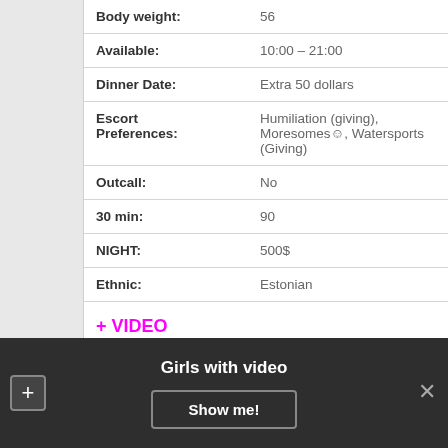| Body weight: | 56 |
| Available: | 10:00 – 21:00 |
| Dinner Date: | Extra 50 dollars |
| Escort Preferences: | Humiliation (giving), Moresomes☺, Watersports (Giving) |
| Outcall: | No |
| 30 min: | 90 |
| NIGHT: | 500$ |
| Ethnic: | Estonian |
+ VIDEO
Girls with video  Show me!